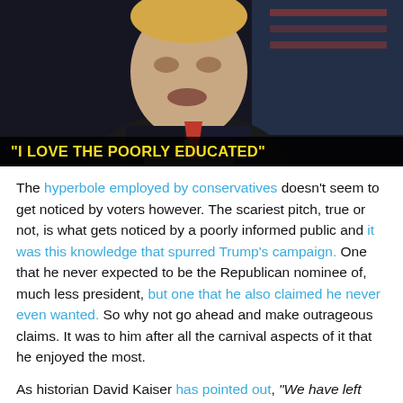[Figure (photo): A person speaking at a podium in front of an American flag in a dark setting, with a lower-third graphic bar reading: "I LOVE THE POORLY EDUCATED" in yellow bold text on a dark background]
The hyperbole employed by conservatives doesn't seem to get noticed by voters however. The scariest pitch, true or not, is what gets noticed by a poorly informed public and it was this knowledge that spurred Trump's campaign. One that he never expected to be the Republican nominee of, much less president, but one that he also claimed he never even wanted. So why not go ahead and make outrageous claims. It was to him after all the carnival aspects of it that he enjoyed the most.
As historian David Kaiser has pointed out, "We have left ourselves vulnerable to a demagogue like [Trump]. He will decide what the consequences will be." Demagogue